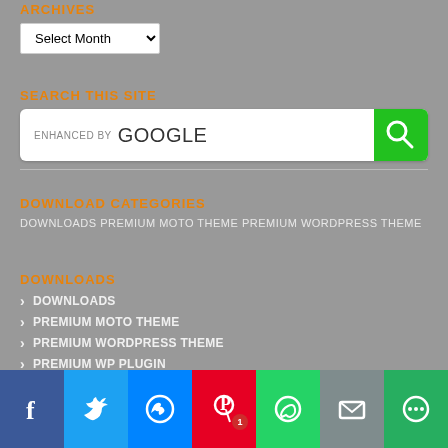ARCHIVES
[Figure (screenshot): Select Month dropdown widget]
SEARCH THIS SITE
[Figure (screenshot): Enhanced by Google search bar with green search button]
DOWNLOAD CATEGORIES
DOWNLOADS PREMIUM MOTO THEME PREMIUM WORDPRESS THEME
DOWNLOADS
DOWNLOADS
PREMIUM MOTO THEME
PREMIUM WORDPRESS THEME
PREMIUM WP PLUGIN
[Figure (screenshot): Social sharing bar with Facebook, Twitter, Messenger, Pinterest, WhatsApp, Email, and More buttons]